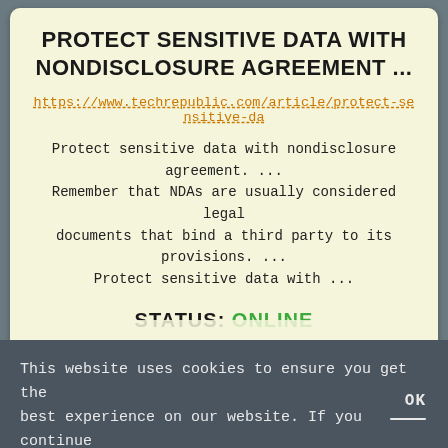PROTECT SENSITIVE DATA WITH NONDISCLOSURE AGREEMENT ...
https://www.techrepublic.com/article/protect-sensitive-da
Protect sensitive data with nondisclosure agreement. ... Remember that NDAs are usually considered legal documents that bind a third party to its provisions. ... Protect sensitive data with ...
STATUS: ONLINE
LIVE VIEW
MORE
This website uses cookies to ensure you get the best experience on our website. If you continue browsing, we consider that you accept their use
OK